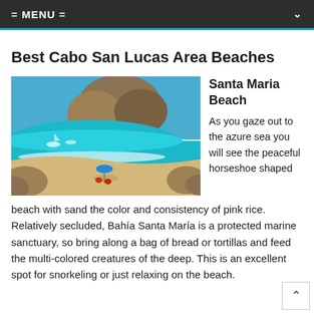= MENU =
Best Cabo San Lucas Area Beaches
[Figure (photo): Aerial view of Santa Maria Beach, a horseshoe-shaped cove with turquoise water, sandy beach, rocky cliffs, and people under a blue umbrella]
Santa Maria Beach
As you gaze out to the azure sea you will see the peaceful horseshoe shaped beach with sand the color and consistency of pink rice. Relatively secluded, Bahía Santa María is a protected marine sanctuary, so bring along a bag of bread or tortillas and feed the multi-colored creatures of the deep. This is an excellent spot for snorkeling or just relaxing on the beach.